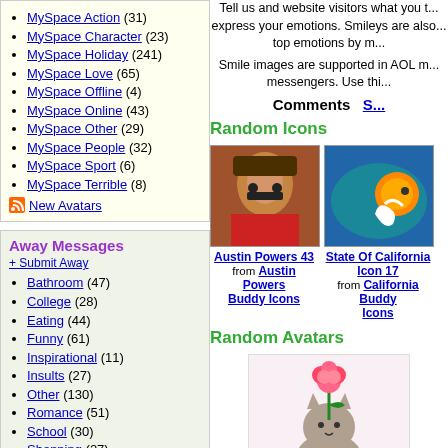MySpace Action (31)
MySpace Character (23)
MySpace Holiday (241)
MySpace Love (65)
MySpace Offline (4)
MySpace Online (43)
MySpace Other (29)
MySpace People (32)
MySpace Sport (6)
MySpace Terrible (8)
New Avatars
Away Messages
+ Submit Away
Bathroom (47)
College (28)
Eating (44)
Funny (61)
Inspirational (11)
Insults (27)
Other (130)
Romance (51)
School (30)
Shopping (27)
Silly (47)
Sleep (38)
Thinkers (44)
Tips (13)
Work (29)
New aways
Tell us and website visitors what you t... express your emotions. Smileys are also... top emotions by m...
Smile images are supported in AOL m... messengers. Use thi...
Comments   S...
Random Icons
[Figure (photo): Austin Powers buddy icon photo]
Austin Powers 43 from Austin Powers Buddy Icons
[Figure (photo): State Of California clownfish icon photo]
State Of California Icon 17 from California Buddy Icons
Random Avatars
[Figure (illustration): For You Myspace Avatar - cat with rose illustration]
For You Myspace Avatar from MySpace Love